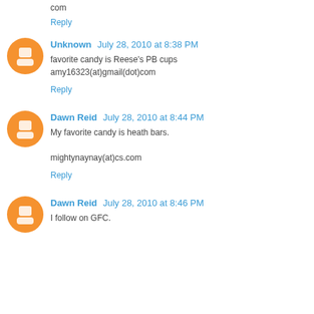com
Reply
Unknown  July 28, 2010 at 8:38 PM
favorite candy is Reese's PB cups
amy16323(at)gmail(dot)com
Reply
Dawn Reid  July 28, 2010 at 8:44 PM
My favorite candy is heath bars.

mightynaynay(at)cs.com
Reply
Dawn Reid  July 28, 2010 at 8:46 PM
I follow on GFC.